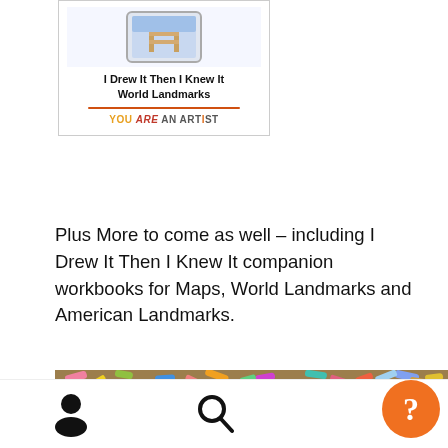[Figure (illustration): Book cover thumbnail for 'I Drew It Then I Knew It World Landmarks' with tablet image, orange underline, and YOU ARE AN ARTIST branding logo, inside a bordered card.]
Plus More to come as well – including I Drew It Then I Knew It companion workbooks for Maps, World Landmarks and American Landmarks.
[Figure (photo): Photo of a chalk pastel artwork on dark blue paper showing city landmarks/buildings silhouette, surrounded by scattered colorful chalk pieces on a wooden surface.]
[Figure (other): Mobile app bottom navigation bar with person/account icon, search/magnifying glass icon, and an orange circular help button with question mark.]